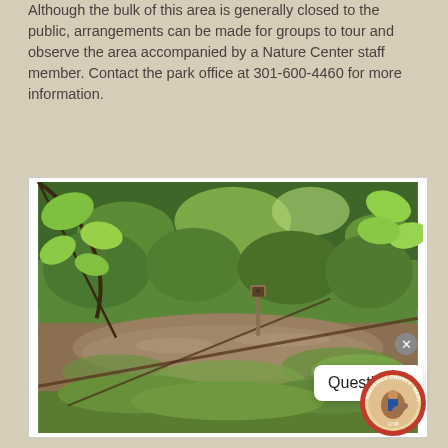Although the bulk of this area is generally closed to the public, arrangements can be made for groups to tour and observe the area accompanied by a Nature Center staff member. Contact the park office at 301-600-4460 for more information.
[Figure (photo): A wetland creek or pond scene viewed through overhanging tree branches and leaves. Muddy water with aquatic vegetation, surrounded by dense green woodland. A small birdhouse post is visible in the middle distance. A 'Questions?' chat bubble overlay and a Frederick County Maryland seal are visible in the lower right corner.]